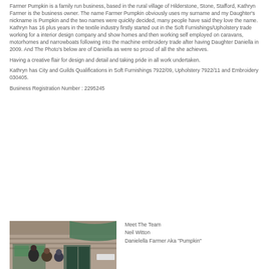Farmer Pumpkin is a family run business, based in the rural village of Hilderstone, Stone, Stafford, Kathryn Farmer is the business owner. The name Farmer Pumpkin obviously uses my surname and my Daughter's nickname is Pumpkin and the two names were quickly decided, many people have said they love the name.
Kathryn has 16 plus years in the textile industry firstly started out in the Soft Furnishings/Upholstery trade working for a interior design company and show homes and then working self employed on caravans, motorhomes and narrowboats following into the machine embroidery trade after having Daughter Daniella in 2009. And The Photo's below are of Daniella as were so proud of all the she achieves.
Having a creative flair for design and detail and taking pride in all work undertaken.
Kathryn has City and Guilds Qualifications in Soft Furnishings 7922/09, Upholstery 7922/11 and Embroidery 030405.
Business Registration Number : 2295245
[Figure (photo): Photo of team members standing outside a building with brick facade and green accents]
Meet The Team
Neil Witton
Daniella Farmer Aka "Pumpkin"